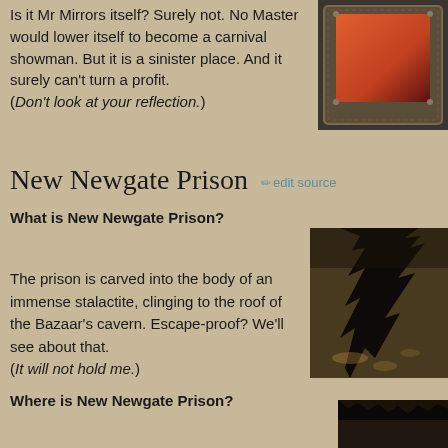Is it Mr Mirrors itself? Surely not. No Master would lower itself to become a carnival showman. But it is a sinister place. And it surely can't turn a profit.
(Don't look at your reflection.)
[Figure (photo): An ornate dark-framed mirror with a reddish-orange glowing reflection, decorated border, positioned top right]
New Newgate Prison
What is New Newgate Prison?
[Figure (photo): A dark atmospheric image of a huge stalactite hanging from a cavern ceiling, with dim lights visible below in a misty environment]
The prison is carved into the body of an immense stalactite, clinging to the roof of the Bazaar's cavern. Escape-proof? We'll see about that.
(It will not hold me.)
Where is New Newgate Prison?
[Figure (photo): Partial view of a dark image at bottom right corner of page]